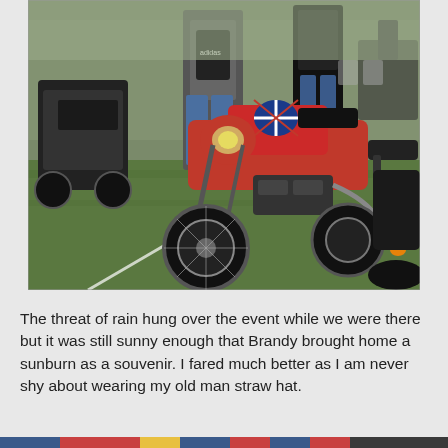[Figure (photo): Outdoor motorcycle show on a grass field. A red Triumph Bonneville style cafe racer with a Union Jack helmet on the tank is the central subject. Several people in black jackets are standing around motorcycles. Other motorcycles including a black Harley-Davidson are visible at right and left. The setting appears to be an overcast day at a rally or bike show.]
The threat of rain hung over the event while we were there but it was still sunny enough that Brandy brought home a sunburn as a souvenir. I fared much better as I am never shy about wearing my old man straw hat.